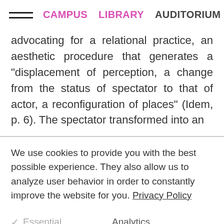CAMPUS  LIBRARY  AUDITORIUM
advocating for a relational practice, an aesthetic procedure that generates a “displacement of perception, a change from the status of spectator to that of actor, a reconfiguration of places” (Idem, p. 6). The spectator transformed into an
We use cookies to provide you with the best possible experience. They also allow us to analyze user behavior in order to constantly improve the website for you. Privacy Policy
✓  Essential
Analytics
REJECT ALL
ACCEPT ALL